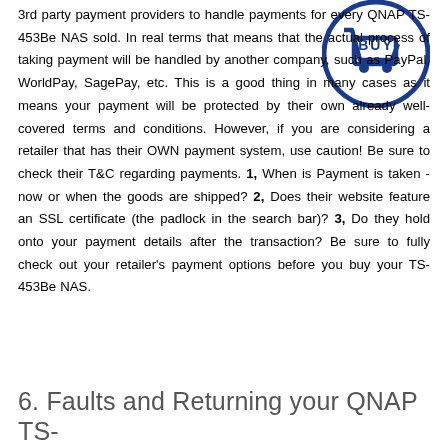[Figure (logo): Blue circular logo with a shopping cart icon and the word BUY]
3rd party payment providers to handle payments for every QNAP TS-453Be NAS sold. In real terms that means that the actual process of taking payment will be handled by another company, such as PayPal, WorldPay, SagePay, etc. This is a good thing in many cases as it means your payment will be protected by their own already well-covered terms and conditions. However, if you are considering a retailer that has their OWN payment system, use caution! Be sure to check their T&C regarding payments. 1, When is Payment is taken - now or when the goods are shipped? 2, Does their website feature an SSL certificate (the padlock in the search bar)? 3, Do they hold onto your payment details after the transaction? Be sure to fully check out your retailer's payment options before you buy your TS-453Be NAS.
6. Faults and Returning your QNAP TS-